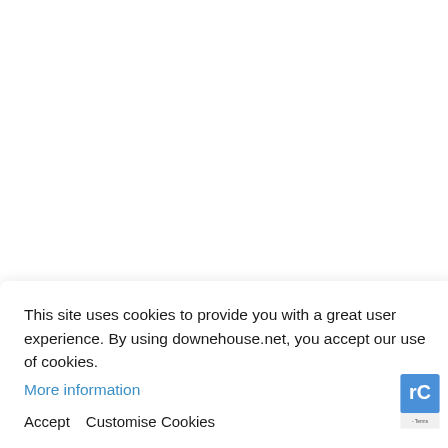This site uses cookies to provide you with a great user experience. By using downehouse.net, you accept our use of cookies. More information
Accept   Customise Cookies